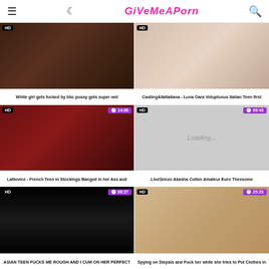GiVeMeAPorn
[Figure (screenshot): Video thumbnail - white girl with tattoos]
White girl gets fucked by bbc pussy gets super wet
[Figure (screenshot): Video thumbnail - casting Italian teen]
CastingAllaItaliana - Luna Oara Voluptuous Italian Teen first
[Figure (screenshot): HD video thumbnail - French teen in stockings, 14:00]
LaNovice - French Teen in Stockings Banged in her Ass and
[Figure (screenshot): HD video thumbnail - Loading..., 09:43]
LiveGonzo Akasha Cullen Amateur Euro Theesome
[Figure (screenshot): HD video thumbnail - Asian teen, 08:27]
ASIAN TEEN FUCKS ME ROUGH AND I CUM ON HER PERFECT
[Figure (screenshot): HD video thumbnail - blonde, 25:23]
Spying on Stepsis and Fuck her while she tries to Put Clothes in